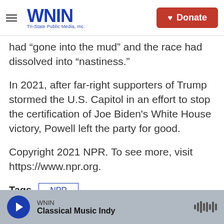WNIN Tri-State Public Media, Inc. | Donate
had "gone into the mud" and the race had dissolved into "nastiness."
In 2021, after far-right supporters of Trump stormed the U.S. Capitol in an effort to stop the certification of Joe Biden's White House victory, Powell left the party for good.
Copyright 2021 NPR. To see more, visit https://www.npr.org.
Tags   NPR
WNIN Classical Music Indy